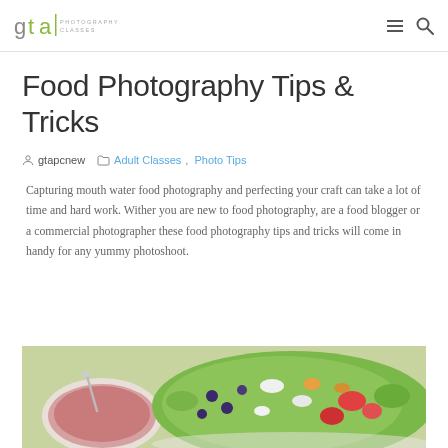gta PHOTOGRAPHY CLASSES
Food Photography Tips & Tricks
gtapcnew  Adult Classes, Photo Tips
Capturing mouth water food photography and perfecting your craft can take a lot of time and hard work. Wither you are new to food photography, are a food blogger or a commercial photographer these food photography tips and tricks will come in handy for any yummy photoshoot.
[Figure (photo): Food photography showing a bowl of pink dressing with a spoon and a colorful salad with greens, blueberries, tomatoes and other toppings]